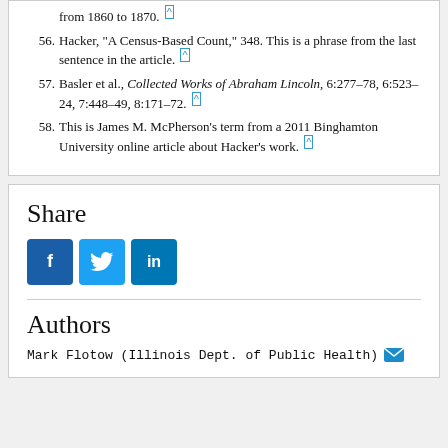from 1860 to 1870. [^]
56. Hacker, "A Census-Based Count," 348. This is a phrase from the last sentence in the article. [^]
57. Basler et al., Collected Works of Abraham Lincoln, 6:277–78, 6:523–24, 7:448–49, 8:171–72. [^]
58. This is James M. McPherson's term from a 2011 Binghamton University online article about Hacker's work. [^]
Share
[Figure (infographic): Social share buttons: Facebook (f), Twitter (bird), LinkedIn (in)]
Authors
Mark Flotow (Illinois Dept. of Public Health) [email icon]